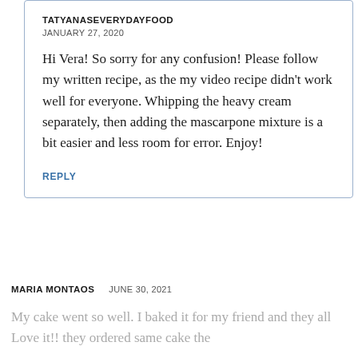TATYANASEVERYDAYFOOD
JANUARY 27, 2020
Hi Vera! So sorry for any confusion! Please follow my written recipe, as the my video recipe didn't work well for everyone. Whipping the heavy cream separately, then adding the mascarpone mixture is a bit easier and less room for error. Enjoy!
REPLY
MARIA MONTAOS
JUNE 30, 2021
My cake went so well. I baked it for my friend and they all Love it!! they ordered same cake the